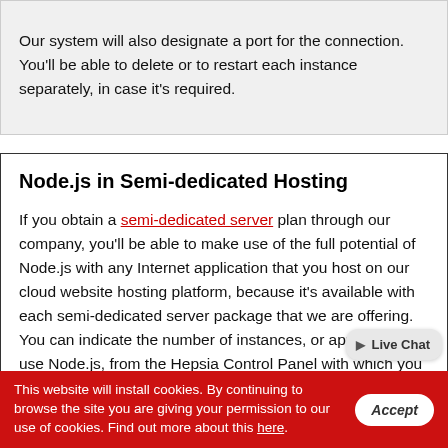Our system will also designate a port for the connection. You'll be able to delete or to restart each instance separately, in case it's required.
Node.js in Semi-dedicated Hosting
If you obtain a semi-dedicated server plan through our company, you'll be able to make use of the full potential of Node.js with any Internet application that you host on our cloud website hosting platform, because it's available with each semi-dedicated server package that we are offering. You can indicate the number of instances, or apps that can use Node.js, from the Hepsia Control Panel with which you can manage your semi-dedicated account. The only
This website will install cookies. By continuing to browse the site you are giving your permission to our use of cookies. Find out more about this here.